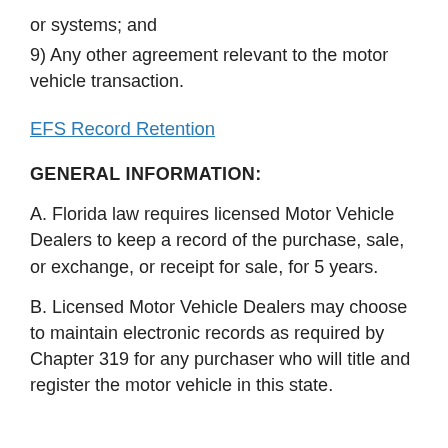or systems; and
9) Any other agreement relevant to the motor vehicle transaction.
EFS Record Retention
GENERAL INFORMATION:
A. Florida law requires licensed Motor Vehicle Dealers to keep a record of the purchase, sale, or exchange, or receipt for sale, for 5 years.
B. Licensed Motor Vehicle Dealers may choose to maintain electronic records as required by Chapter 319 for any purchaser who will title and register the motor vehicle in this state.